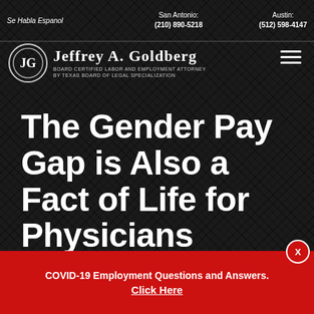Se Habla Espanol | San Antonio: (210) 890-5218 | Austin: (512) 598-4147
[Figure (logo): Jeffrey A. Goldberg law firm logo with JG monogram in circle and text: Board Certified Labor and Employment Attorney by Texas Board of Legal Specialization]
The Gender Pay Gap is Also a Fact of Life for Physicians
COVID-19 Employment Questions and Answers. Click Here